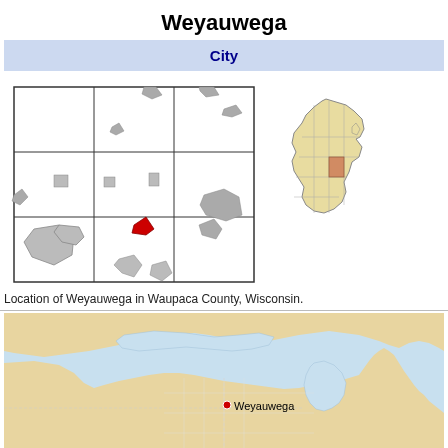Weyauwega
City
[Figure (map): County map showing location of Weyauwega (red marker) in Waupaca County, Wisconsin, with a small inset map of Wisconsin showing the county highlighted in orange.]
Location of Weyauwega in Waupaca County, Wisconsin.
[Figure (map): Regional map showing Weyauwega marked with a red dot within the Great Lakes region context including parts of Wisconsin, Michigan, and surrounding states/Canada.]